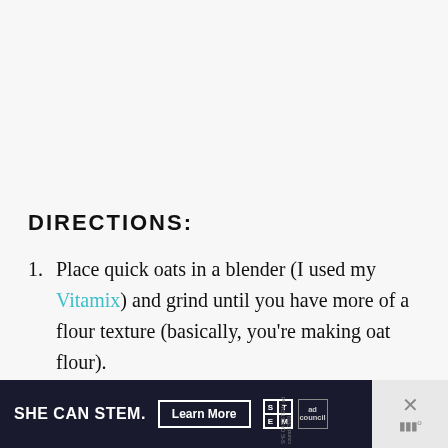DIRECTIONS:
Place quick oats in a blender (I used my Vitamix) and grind until you have more of a flour texture (basically, you're making oat flour).
Add ground oats and all other
[Figure (screenshot): Advertisement banner: 'SHE CAN STEM. Learn More' with STEM and Ad Council logos on dark background, with a close button on the right]